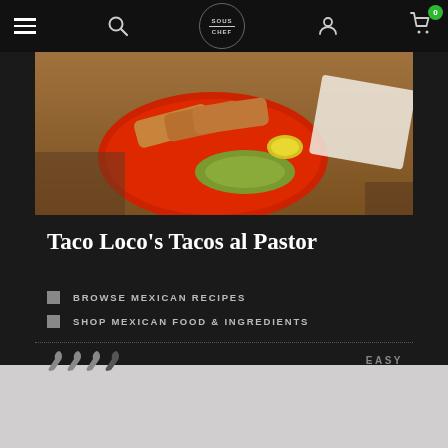Sous Chef navigation bar with hamburger menu, search, logo, user icon, cart (0)
[Figure (photo): Food photo showing rolled tacos on a red plate with guacamole sauce, served on a wooden table with a napkin]
Taco Loco’s Tacos al Pastor
BROWSE MEXICAN RECIPES
SHOP MEXICAN FOOD & INGREDIENTS
EASY